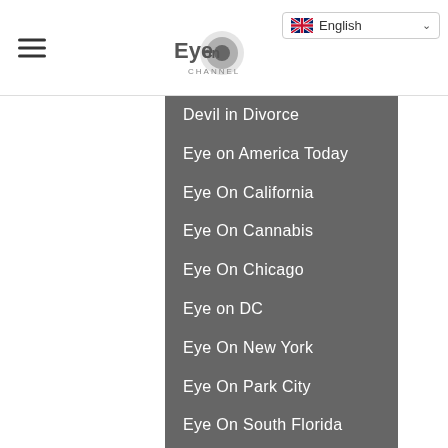[Figure (logo): Eye On Channel logo with circular graphic]
[Figure (screenshot): English language selector dropdown with UK flag]
Devil in Divorce
Eye on America Today
Eye On California
Eye On Cannabis
Eye On Chicago
Eye on DC
Eye On New York
Eye On Park City
Eye On South Florida
Mass Tort News Network
Metzler Minutes
Music
Programming